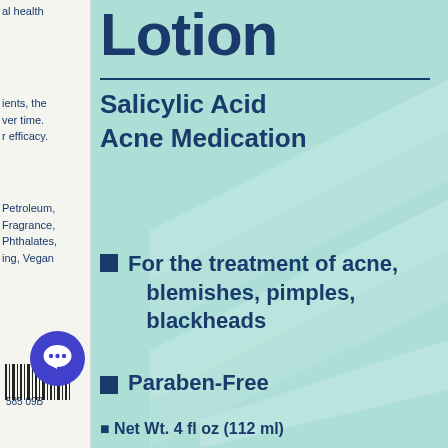[Figure (photo): Product label for a Salicylic Acid Acne Medication Lotion. The label features a teal/mint green chevron pattern background with dark navy blue text. Left edge shows a narrow off-white strip with partial text visible. The label reads: Lotion, Salicylic Acid Acne Medication, For the treatment of acne, blemishes, pimples, blackheads, Paraben-Free, Net Wt. (partially visible). A blue chat bubble icon overlays the bottom-left area.]
Lotion
Salicylic Acid Acne Medication
For the treatment of acne, blemishes, pimples, blackheads
Paraben-Free
al health
ients, the
ver time.
r efficacy.
Petroleum,
Fragrance,
Phthalates,
ing, Vegan
585 09B